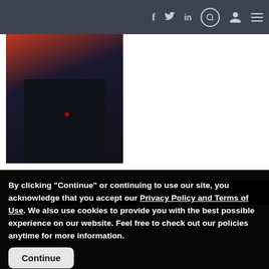Navigation bar with social icons: f (Facebook), Twitter bird, in (LinkedIn), search, user, menu
[Figure (photo): Partial photo of a person in a dark suit with a blue tie and a small red pin on the lapel]
Sponsored Content
[Figure (photo): Sponsored ad image with text: 'IN MICHIGAN, WE DREAM BIGGER.' and a person in the foreground]
In Michigan, we dream bigger. Join the innovators changing the world, right h[ere]
By clicking "Continue" or continuing to use our site, you acknowledge that you accept our Privacy Policy and Terms of Use. We also use cookies to provide you with the best possible experience on our website. Feel free to check out our policies anytime for more information.
Continue